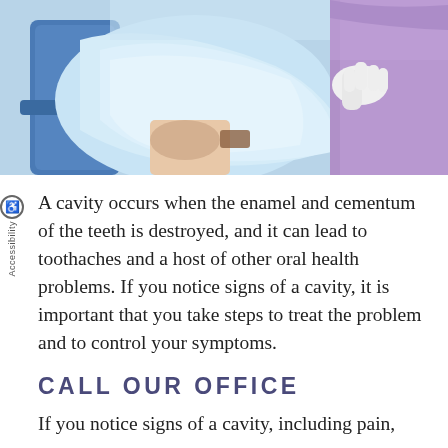[Figure (photo): Dental office scene showing a patient in a dental chair with a light blue protective drape. A dental professional in purple scrubs and white gloves is attending to the patient. Dental equipment visible in background.]
A cavity occurs when the enamel and cementum of the teeth is destroyed, and it can lead to toothaches and a host of other oral health problems. If you notice signs of a cavity, it is important that you take steps to treat the problem and to control your symptoms.
CALL OUR OFFICE
If you notice signs of a cavity, including pain,